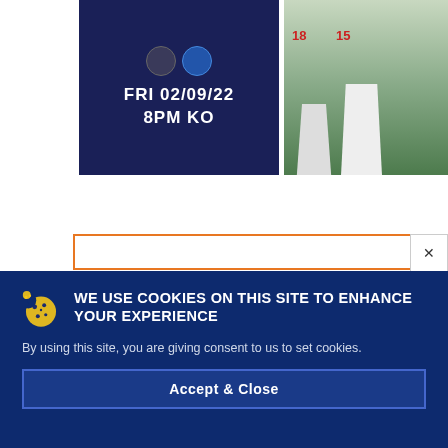[Figure (photo): Dark navy match card showing two team logos, date FRI 02/09/22 and time 8PM KO in bold white uppercase text on dark blue background]
[Figure (photo): Action football/soccer photo showing players in white kits with jersey numbers 18 and 15/19 visible, on a green pitch]
WE USE COOKIES ON THIS SITE TO ENHANCE YOUR EXPERIENCE
By using this site, you are giving consent to us to set cookies.
Accept & Close